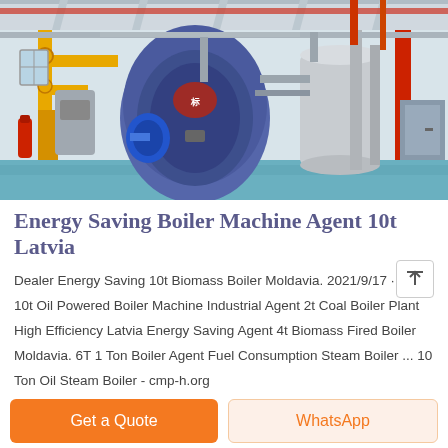[Figure (photo): Interior of an industrial boiler room showing large cylindrical blue boiler tanks, yellow gas pipes, red structural columns, and blue painted floor with industrial equipment.]
Energy Saving Boiler Machine Agent 10t Latvia
Dealer Energy Saving 10t Biomass Boiler Moldavia. 2021/9/17 · Agent 10t Oil Powered Boiler Machine Industrial Agent 2t Coal Boiler Plant High Efficiency Latvia Energy Saving Agent 4t Biomass Fired Boiler Moldavia. 6T 1 Ton Boiler Agent Fuel Consumption Steam Boiler ... 10 Ton Oil Steam Boiler - cmp-h.org